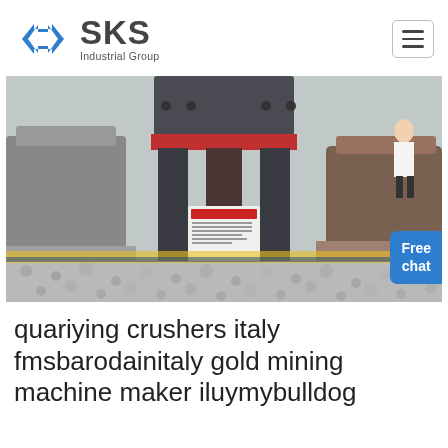SKS Industrial Group
[Figure (photo): Industrial mining crusher machine in a factory setting, surrounded by crushed aggregate/gravel, with other crushers visible in the background. A 'Free chat' button overlay appears in the bottom-right corner of the image.]
quariying crushers italy fmsbarodainitaly gold mining machine maker iluymybulldog